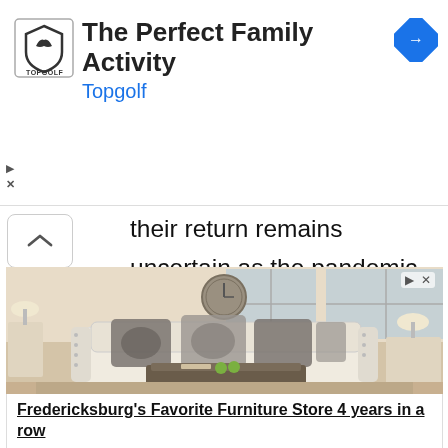[Figure (screenshot): Topgolf advertisement banner with logo, title 'The Perfect Family Activity', brand name 'Topgolf' in blue, navigation icon in top right corner]
their return remains uncertain as the pandemic looms large over the popular and profitable New York institution.
[Figure (photo): Furniture store advertisement showing a living room with a beige sofa, decorative pillows, coffee table, end tables, lamps, and wall clock]
Fredericksburg's Favorite Furniture Store 4 years in a row
Powell's Furniture
Open >